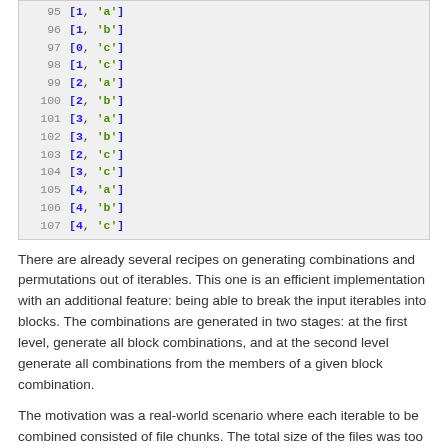[Figure (screenshot): Code block showing line numbers 95-107 with list values like [1,'a'], [1,'b'], etc. on a grey background]
There are already several recipes on generating combinations and permutations out of iterables. This one is an efficient implementation with an additional feature: being able to break the input iterables into blocks. The combinations are generated in two stages: at the first level, generate all block combinations, and at the second level generate all combinations from the members of a given block combination.
The motivation was a real-world scenario where each iterable to be combined consisted of file chunks. The total size of the files was too large to fit